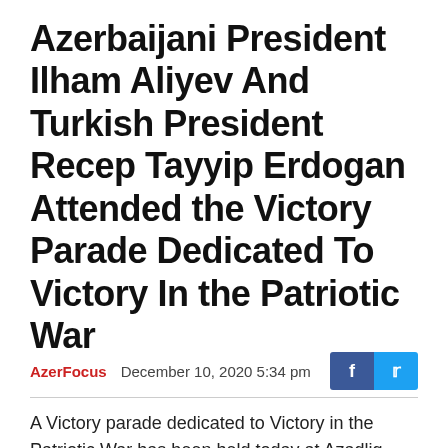Azerbaijani President Ilham Aliyev And Turkish President Recep Tayyip Erdogan Attended the Victory Parade Dedicated To Victory In the Patriotic War
AzerFocus   December 10, 2020 5:34 pm
A Victory parade dedicated to Victory in the Patriotic War has been held today at Azadlig Square, Baku, according